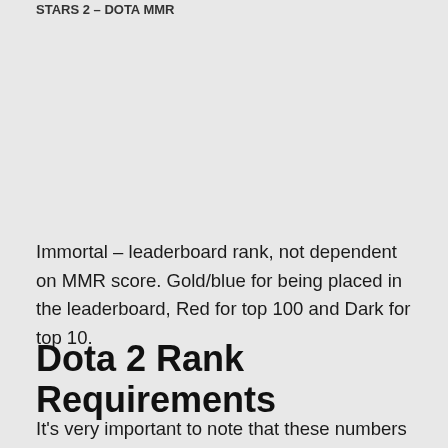STARS 2 – DALO MMR
Immortal – leaderboard rank, not dependent on MMR score. Gold/blue for being placed in the leaderboard, Red for top 100 and Dark for top 10.
Dota 2 Rank Requirements
It's very important to note that these numbers above are